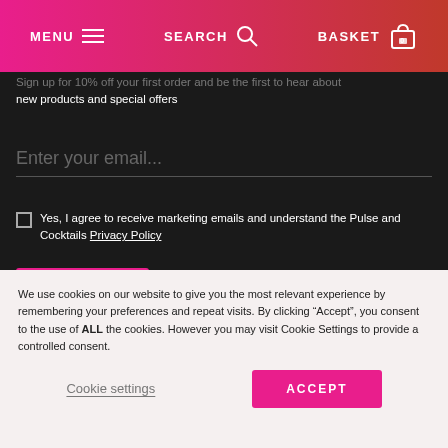MENU  SEARCH  BASKET 0
Sign up for 10% off your first order and be the first to hear about new products and special offers
Enter your email...
Yes, I agree to receive marketing emails and understand the Pulse and Cocktails Privacy Policy
SUBSCRIBE
[Figure (logo): Feefo service rating badge with 5 gold stars and text 'Service Rating  580 reviews']
We use cookies on our website to give you the most relevant experience by remembering your preferences and repeat visits. By clicking “Accept”, you consent to the use of ALL the cookies. However you may visit Cookie Settings to provide a controlled consent.
Cookie settings
ACCEPT